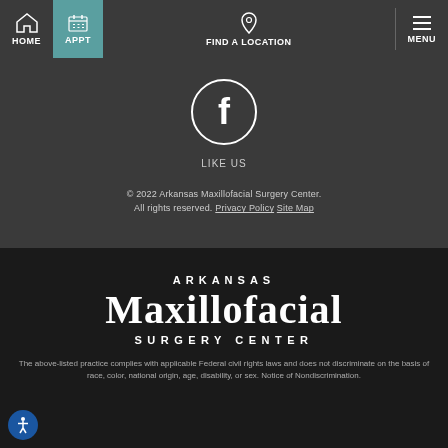HOME | APPT | FIND A LOCATION | MENU
[Figure (logo): Facebook circle icon with 'f' logo]
LIKE US
© 2022 Arkansas Maxillofacial Surgery Center. All rights reserved. Privacy Policy Site Map
[Figure (logo): Arkansas Maxillofacial Surgery Center logo with large serif Maxillofacial text]
The above-listed practice complies with applicable Federal civil rights laws and does not discriminate on the basis of race, color, national origin, age, disability, or sex. Notice of Nondiscrimination.